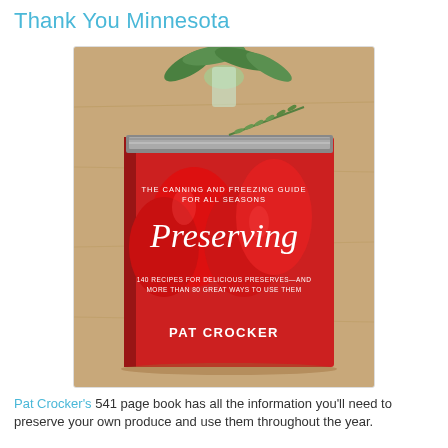Thank You Minnesota
[Figure (photo): Photo of the book 'Preserving: The Canning and Freezing Guide for All Seasons' by Pat Crocker, sitting on a wooden table with a plant in a glass vase behind it. The book cover shows red peppers in a canning jar with a sprig of rosemary on top.]
Pat Crocker's 541 page book has all the information you'll need to preserve your own produce and use them throughout the year.